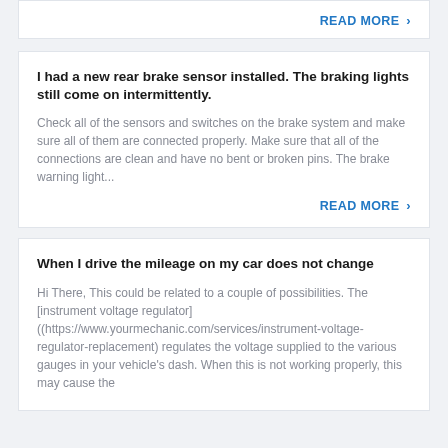READ MORE >
I had a new rear brake sensor installed. The braking lights still come on intermittently.
Check all of the sensors and switches on the brake system and make sure all of them are connected properly. Make sure that all of the connections are clean and have no bent or broken pins. The brake warning light...
READ MORE >
When I drive the mileage on my car does not change
Hi There, This could be related to a couple of possibilities. The [instrument voltage regulator] ((https://www.yourmechanic.com/services/instrument-voltage-regulator-replacement) regulates the voltage supplied to the various gauges in your vehicle's dash. When this is not working properly, this may cause the